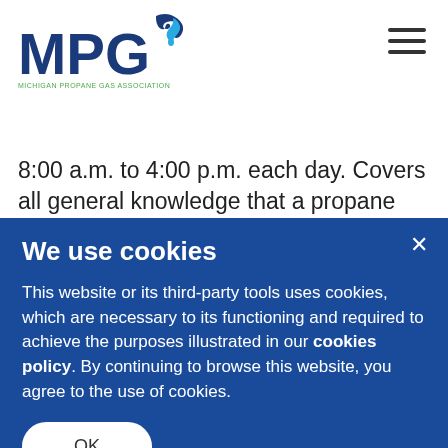Michigan Propane Gas Association (MPGA) logo and navigation
8:00 a.m. to 4:00 p.m. each day. Covers all general knowledge that a propane employee would need to use and operate a dispenser. The book includes information on dispenser tank valves, fittings and locations; and
We use cookies
This website or its third-party tools uses cookies, which are necessary to its functioning and required to achieve the purposes illustrated in our cookies policy. By continuing to browse this website, you agree to the use of cookies.
OK